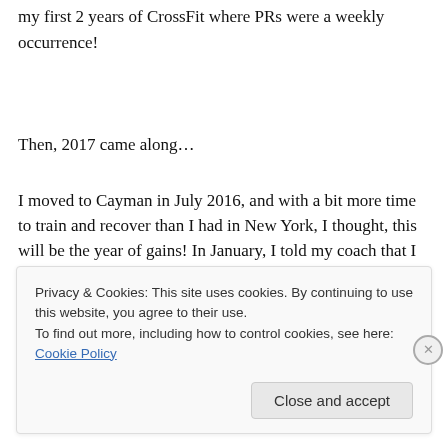my first 2 years of CrossFit where PRs were a weekly occurrence!
Then, 2017 came along…
I moved to Cayman in July 2016, and with a bit more time to train and recover than I had in New York, I thought, this will be the year of gains! In January, I told my coach that I wanted to focus on getting stronger, even if that meant
Privacy & Cookies: This site uses cookies. By continuing to use this website, you agree to their use.
To find out more, including how to control cookies, see here: Cookie Policy
Close and accept